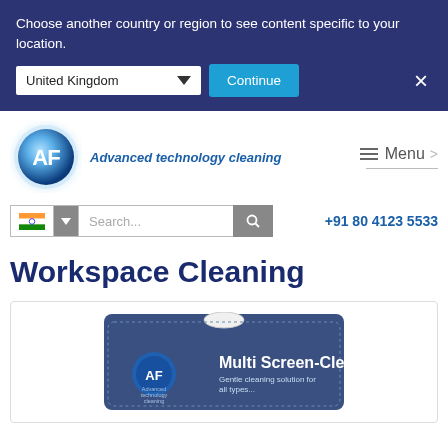Choose another country or region to see content specific to your location.
United Kingdom
Continue
[Figure (logo): AF Advanced technology cleaning logo - blue circular logo with AF text and glow effect]
Menu >
+91 80 4123 5533
Workspace Cleaning
[Figure (photo): AF Multi Screen-Clene product in blister packaging - Gentle cleaning solution for all types of screens]